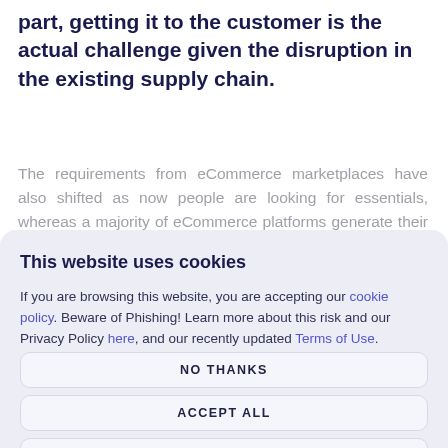part, getting it to the customer is the actual challenge given the disruption in the existing supply chain.
The requirements from eCommerce marketplaces have also shifted as now people are looking for essentials, whereas a majority of eCommerce platforms generate their revenue from non-essential
This website uses cookies
If you are browsing this website, you are accepting our cookie policy. Beware of Phishing! Learn more about this risk and our Privacy Policy here, and our recently updated Terms of Use.
NO THANKS
ACCEPT ALL
MANAGE